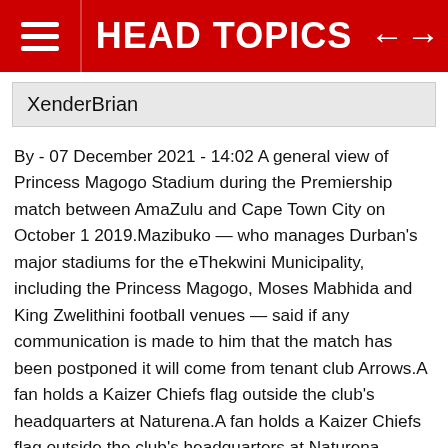HEAD TOPICS
XenderBrian
By - 07 December 2021 - 14:02 A general view of Princess Magogo Stadium during the Premiership match between AmaZulu and Cape Town City on October 1 2019.Mazibuko — who manages Durban's major stadiums for the eThekwini Municipality, including the Princess Magogo, Moses Mabhida and King Zwelithini football venues — said if any communication is made to him that the match has been postponed it will come from tenant club Arrows.A fan holds a Kaizer Chiefs flag outside the club's headquarters at Naturena.A fan holds a Kaizer Chiefs flag outside the club's headquarters at Naturena.
Image: Anesh Debiky/Gallo Images The stadium manager of Princess Magogo Stadium in Durban, Vusi